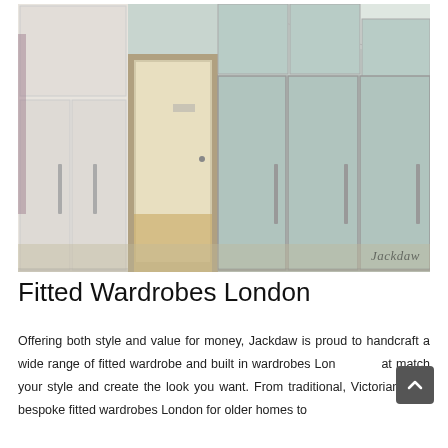[Figure (photo): Photo of fitted wardrobes in a room with slanted ceiling. Wardrobes are light grey/sage green with tall panel doors and vertical bar handles. On the left side are white wardrobe panels. There is an open doorway visible in the middle revealing a corridor with wooden flooring. The wardrobes follow the angled roofline with cabinet panels above. A watermark reading 'Jackdaw' is visible in the bottom right of the photo.]
Fitted Wardrobes London
Offering both style and value for money, Jackdaw is proud to handcraft a wide range of fitted wardrobe and built in wardrobes London at match your style and create the look you want. From traditional, Victorian style bespoke fitted wardrobes London for older homes to